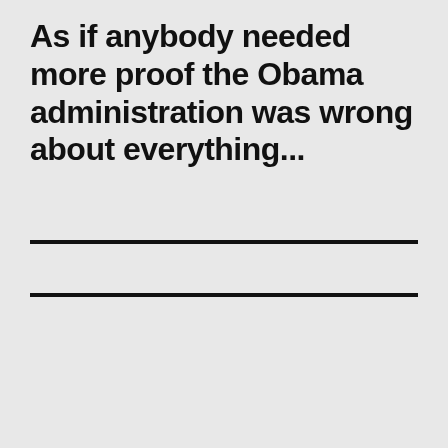As if anybody needed more proof the Obama administration was wrong about everything...
[Figure (screenshot): Twitter/X embedded tweet widget showing 'Tweets from @ThePowersThatBe' with a Follow button, and a tweet from Doug Po... @ThePowers... 13m: 'If these lunatics aren't hamstrung in November and swept out of office in a landslide in 2024 there could be no coming back.']